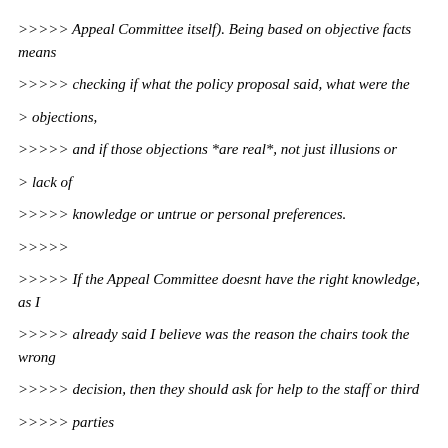>>>>> Appeal Committee itself). Being based on objective facts means
>>>>> checking if what the policy proposal said, what were the
> objections,
>>>>> and if those objections *are real*, not just illusions or
> lack of
>>>>> knowledge or untrue or personal preferences.
>>>>>
>>>>> If the Appeal Committee doesnt have the right knowledge, as I
>>>>> already said I believe was the reason the chairs took the wrong
>>>>> decision, then they should ask for help to the staff or third
>>>>> parties